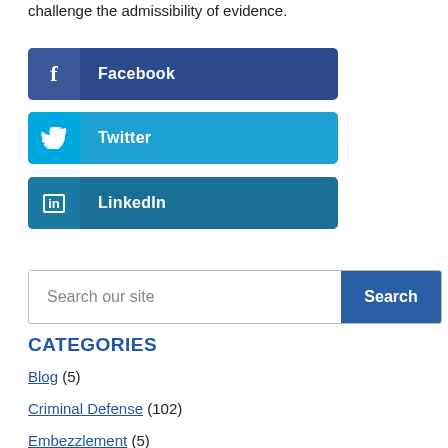challenge the admissibility of evidence.
[Figure (infographic): Facebook social share button (dark blue with f icon and Facebook label)]
[Figure (infographic): Twitter social share button (light blue with bird icon and Twitter label)]
[Figure (infographic): LinkedIn social share button (teal blue with in icon and LinkedIn label)]
[Figure (infographic): Search bar with text 'Search our site' and a blue Search button]
CATEGORIES
Blog (5)
Criminal Defense (102)
Embezzlement (5)